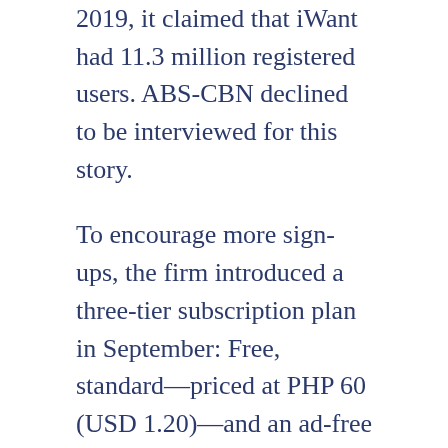2019, it claimed that iWant had 11.3 million registered users. ABS-CBN declined to be interviewed for this story.
To encourage more sign-ups, the firm introduced a three-tier subscription plan in September: Free, standard—priced at PHP 60 (USD 1.20)—and an ad-free premium plan—at PHP 120 (USD 2.40). But despite higher subscriber numbers, advertisers remain in a wait-and-see mode.
Advertisers are not convinced
“The previous ABS-CBN TV ad spending will